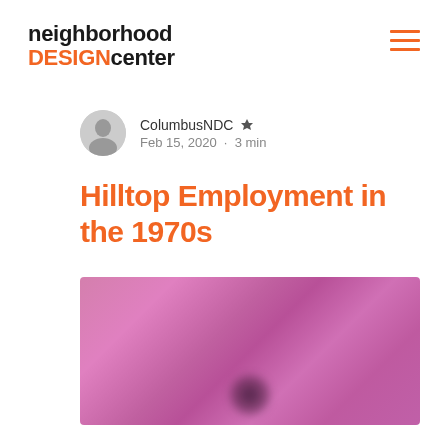neighborhood DESIGNcenter
ColumbusNDC · Feb 15, 2020 · 3 min
Hilltop Employment in the 1970s
[Figure (photo): A blurred pink/magenta colored photograph, likely a historical image related to Hilltop employment in the 1970s]